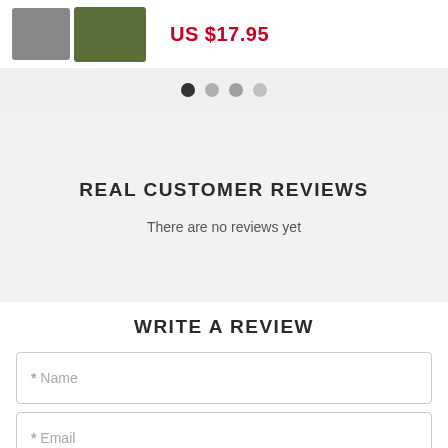[Figure (photo): Product images showing dog collars/harnesses and price tag US $17.95 in red]
[Figure (other): Carousel pagination dots: one filled dark, three gray]
REAL CUSTOMER REVIEWS
There are no reviews yet
WRITE A REVIEW
* Name
* Email
* Country
United States